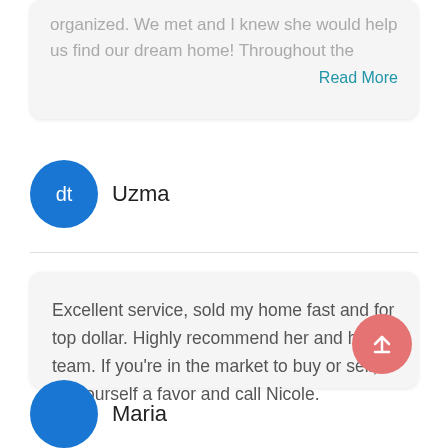organized. We met and I knew she would help us find our dream home! Throughout the
Read More
Uzma
Excellent service, sold my home fast and for top dollar. Highly recommend her and her team. If you're in the market to buy or sell, do yourself a favor and call Nicole.
[Figure (other): Scroll-to-top button: red circle with white upward arrow]
Maria